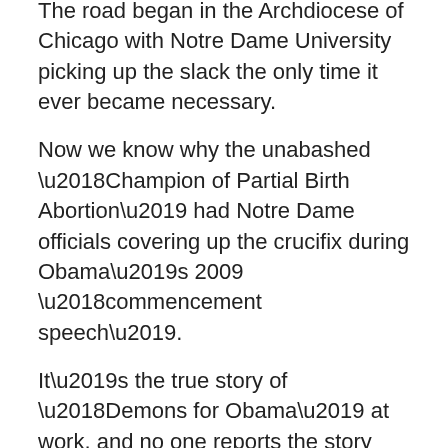The road began in the Archdiocese of Chicago with Notre Dame University picking up the slack the only time it ever became necessary.
Now we know why the unabashed ‘Champion of Partial Birth Abortion’ had Notre Dame officials covering up the crucifix during Obama’s 2009 ‘commencement speech’.
It’s the true story of ‘Demons for Obama’ at work, and no one reports the story more compellingly than Fr. Z’s courageous colleague and friend, Michael Voris of the CIA. (Catholic Investigative Agency).
Voris gets behind the political front CCHD (Catholic Campaign for Human Development) which raised some $280 million from Sunday church collection under the guise of a Campaign Against Poverty, and points out that the poverty level was 12.6%  in 1970 and sits at 13.2% some 40 years later.